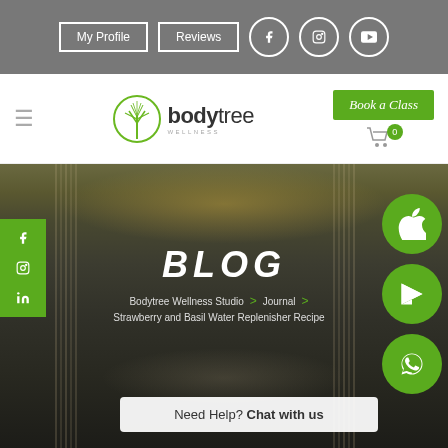My Profile | Reviews | Social icons (Facebook, Instagram, YouTube)
[Figure (screenshot): Bodytree Wellness Studio website screenshot showing navigation with logo, Book a Class button, and hero image with BLOG heading, breadcrumb navigation and chat widget]
BLOG
Bodytree Wellness Studio > Journal > Strawberry and Basil Water Replenisher Recipe
Need Help? Chat with us